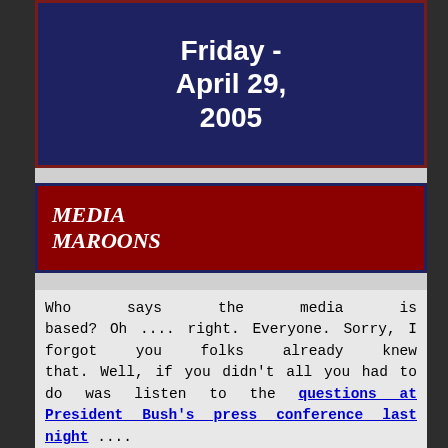Friday - April 29, 2005
MEDIA MAROONS
Who says the media is based? Oh .... right. Everyone. Sorry, I forgot you folks already knew that. Well, if you didn't all you had to do was listen to the questions at President Bush's press conference last night ....
The most obnoxious questions at President Bush's Thursday night news conference: In asking about how Bush's energy bill would lower energy prices